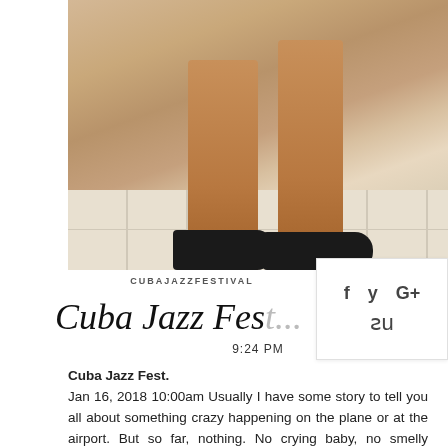[Figure (photo): Close-up photo of a person's legs and feet wearing black shoes standing on white tile floor]
f   y   G+   su
CUBAJAZZFESTIVAL
Cuba Jazz Fest...
9:24 PM
Cuba Jazz Fest.
Jan 16, 2018 10:00am Usually I have some story to tell you all about something crazy happening on the plane or at the airport. But so far, nothing. No crying baby, no smelly passenger, or talkative person. This trip, so far, has been one of the nicely...